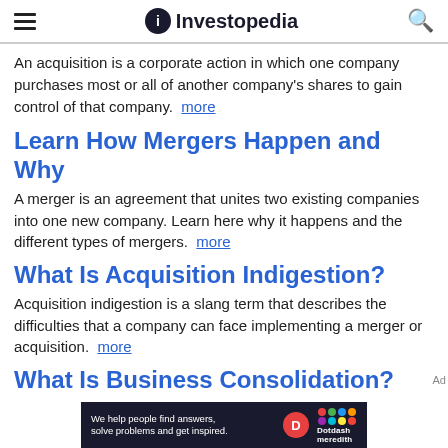Investopedia
An acquisition is a corporate action in which one company purchases most or all of another company's shares to gain control of that company. more
Learn How Mergers Happen and Why
A merger is an agreement that unites two existing companies into one new company. Learn here why it happens and the different types of mergers. more
What Is Acquisition Indigestion?
Acquisition indigestion is a slang term that describes the difficulties that a company can face implementing a merger or acquisition. more
What Is Business Consolidation?
[Figure (infographic): Dotdash Meredith ad banner: We help people find answers, solve problems and get inspired.]